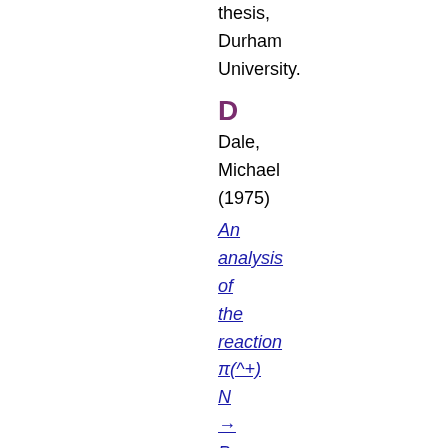thesis, Durham University.
D
Dale, Michael (1975)
An analysis of the reaction π(^+) N → P Xo at 4 GeV/c.
Doctoral